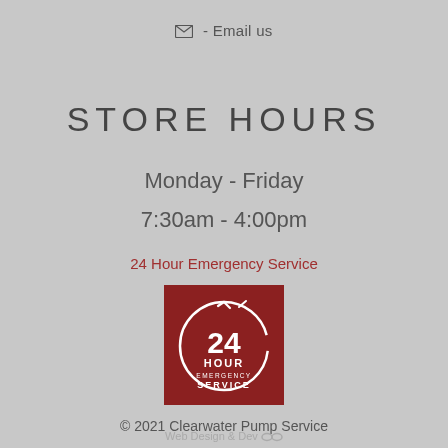✉ - Email us
STORE HOURS
Monday - Friday
7:30am - 4:00pm
24 Hour Emergency Service
[Figure (logo): 24 Hour Emergency Service badge: dark red square background with white circular clock arrow icon and text '24 HOUR EMERGENCY SERVICE']
© 2021 Clearwater Pump Service
Web Design & Dev 🕶